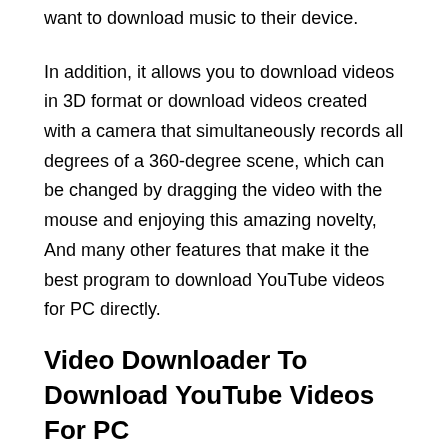want to download music to their device.
In addition, it allows you to download videos in 3D format or download videos created with a camera that simultaneously records all degrees of a 360-degree scene, which can be changed by dragging the video with the mouse and enjoying this amazing novelty, And many other features that make it the best program to download YouTube videos for PC directly.
Video Downloader To Download YouTube Videos For PC
4K Video Downloader is a great program for